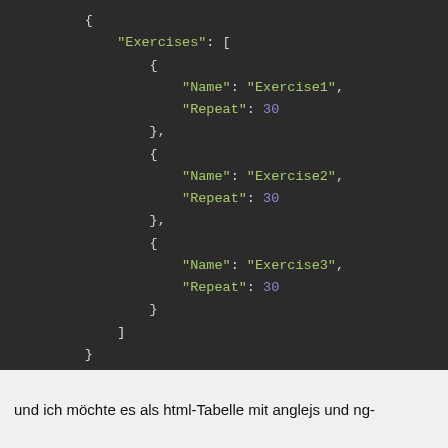[Figure (screenshot): Dark-themed code editor screenshot showing a JSON structure with an 'Exercises' array containing three objects, each with 'Name' (Exercise1, Exercise2, Exercise3) and 'Repeat' (30) fields.]
und ich möchte es als html-Tabelle mit anglejs und ng-